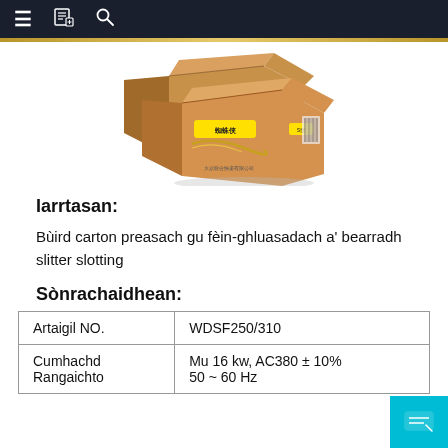≡ [book icon] [search icon]
[Figure (illustration): Two stacked cardboard shipping boxes with yellow labels and a gold swoosh logo design, with barcodes and text on the side.]
Iarrtasan:
Bùird carton preasach gu fèin-ghluasadach a' bearradh slitter slotting
Sònrachaidhean:
| Artaigil NO. | WDSF250/310 |
| Cumhachd Rangaichto | Mu 16 kw, AC380 ± 10%
50 ~ 60 Hz |